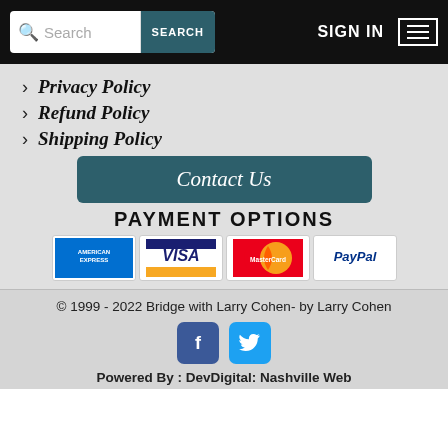Search | SEARCH | SIGN IN
> Privacy Policy
> Refund Policy
> Shipping Policy
Contact Us
PAYMENT OPTIONS
[Figure (other): Payment method logos: American Express, Visa, MasterCard, PayPal]
© 1999 - 2022 Bridge with Larry Cohen- by Larry Cohen
[Figure (other): Facebook and Twitter social media icons]
Powered By : DevDigital: Nashville Web